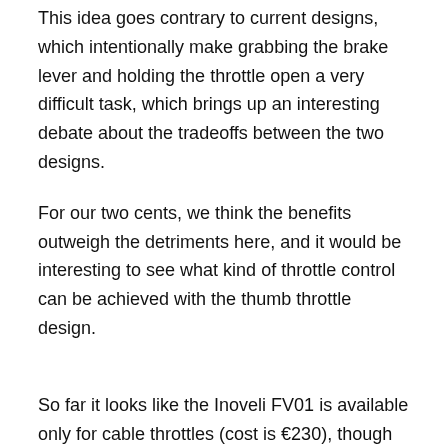This idea goes contrary to current designs, which intentionally make grabbing the brake lever and holding the throttle open a very difficult task, which brings up an interesting debate about the tradeoffs between the two designs.
For our two cents, we think the benefits outweigh the detriments here, and it would be interesting to see what kind of throttle control can be achieved with the thumb throttle design.
So far it looks like the Inoveli FV01 is available only for cable throttles (cost is €230), though hopefully the small French company will debut a ride-by-wire digital throttle as well for more advanced two-wheelrs.